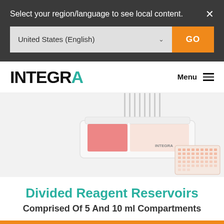Select your region/language to see local content.
United States (English)
GO
[Figure (logo): INTEGRA company logo with teal A]
Menu ≡
[Figure (photo): White divided reagent reservoir with pink/red liquid and pipette tips, alongside a microplate]
Divided Reagent Reservoirs
Comprised Of 5 And 10 ml Compartments
Newsletter  Ask  Demo  Quote